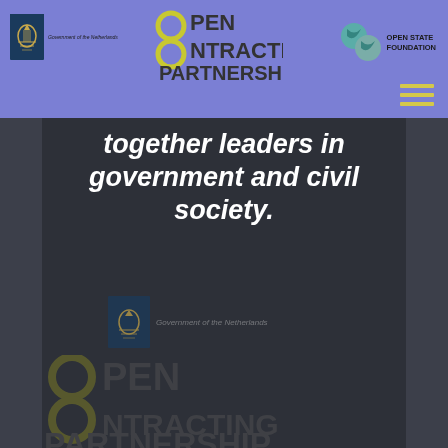Government of the Netherlands | Open Contracting Partnership | Open State Foundation
together leaders in government and civil society.
[Figure (logo): Government of the Netherlands logo with crest and text, overlaid on dark background]
[Figure (logo): Open Contracting Partnership logo watermark on dark background, large olive/yellow letters and ring icons]